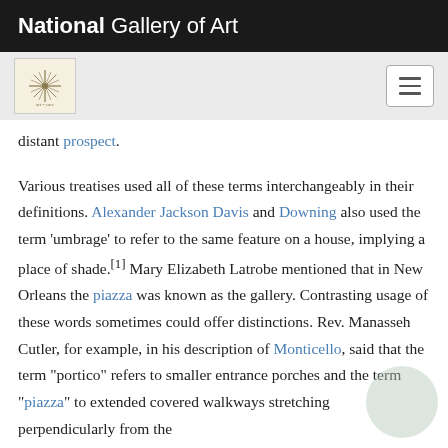National Gallery of Art
distant prospect.
Various treatises used all of these terms interchangeably in their definitions. Alexander Jackson Davis and Downing also used the term 'umbrage' to refer to the same feature on a house, implying a place of shade.[1] Mary Elizabeth Latrobe mentioned that in New Orleans the piazza was known as the gallery. Contrasting usage of these words sometimes could offer distinctions. Rev. Manasseh Cutler, for example, in his description of Monticello, said that the term "portico" refers to smaller entrance porches and the term "piazza" to extended covered walkways stretching perpendicularly from the